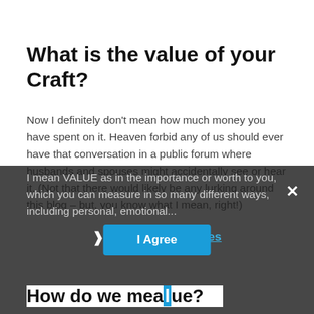What is the value of your Craft?
Now I definitely don't mean how much money you have spent on it. Heaven forbid any of us should ever have that conversation in a public forum where husbands and spouses might accidentally see or hear it. (Not that there would likely be any lurking around this blog – but, you know what I mean, right!)
I mean VALUE as in the importance or worth to you, which you can measure in so many different ways, including personal, emotional...
Privacy Preferences
I Agree
How do we mea...lue?